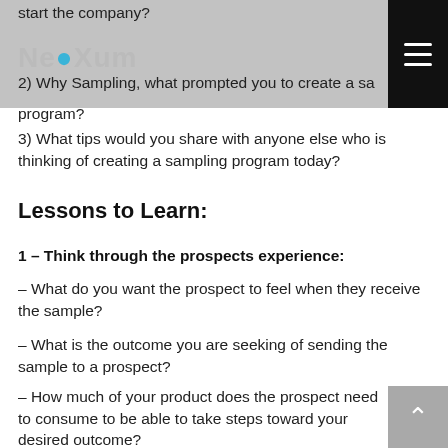start the company?
2) Why Sampling, what prompted you to create a sampling program?
3) What tips would you share with anyone else who is thinking of creating a sampling program today?
Lessons to Learn:
1 – Think through the prospects experience:
– What do you want the prospect to feel when they receive the sample?
– What is the outcome you are seeking of sending the sample to a prospect?
– How much of your product does the prospect need to consume to be able to take steps toward your desired outcome?